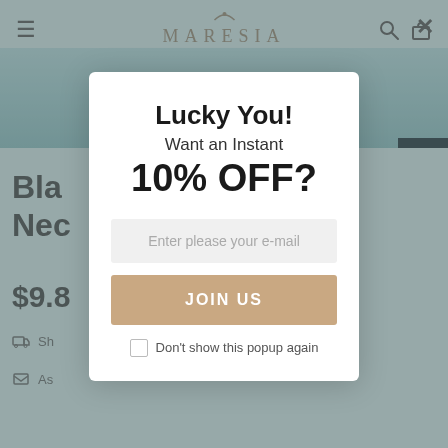[Figure (screenshot): Maresia e-commerce website background with navigation bar showing hamburger menu, MARESIA brand logo, search and cart icons, product image strip, and partial product listing showing 'Bla... Nec...' title and '$9.8...' price.]
Lucky You!
Want an Instant
10% OFF?
Enter please your e-mail
JOIN US
Don't show this popup again